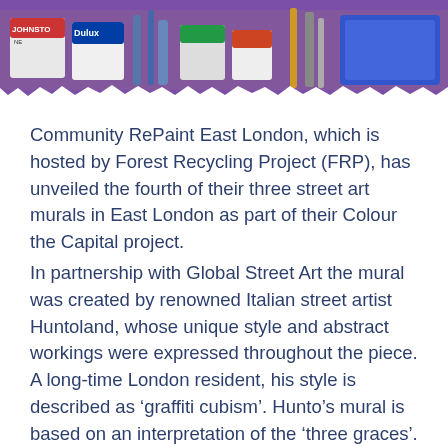[Figure (photo): Photo of paint tins and art supplies (Johnstone's, Dulux visible) with a purple/violet banner at top, torn paper edge at bottom of photo]
Community RePaint East London, which is hosted by Forest Recycling Project (FRP), has unveiled the fourth of their three street art murals in East London as part of their Colour the Capital project.
In partnership with Global Street Art the mural was created by renowned Italian street artist Huntoland, whose unique style and abstract workings were expressed throughout the piece. A long-time London resident, his style is described as ‘graffiti cubism’. Hunto’s mural is based on an interpretation of the ‘three graces’.